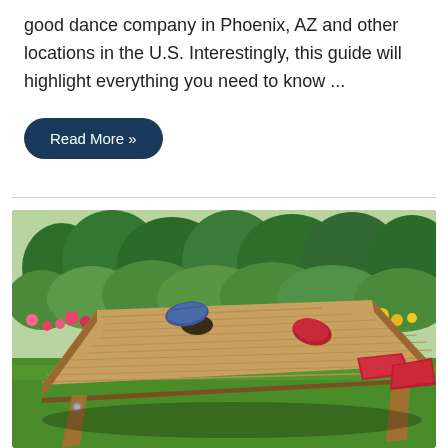good dance company in Phoenix, AZ and other locations in the U.S. Interestingly, this guide will highlight everything you need to know ...
Read More »
[Figure (photo): Outdoor photo of a wooden cornhole board on green grass with red and blue bean bags on top of it. Lush green garden plants and a white picket fence in the background, with colorful flowers visible.]